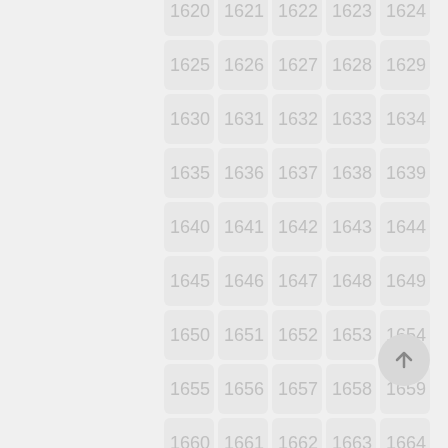[Figure (other): A scrollable grid UI showing numbered cells from 1620 to 1674 arranged in 5 columns, with a scroll-to-top button in the bottom right corner. The cells have rounded corners, light gray backgrounds, and gray numbers.]